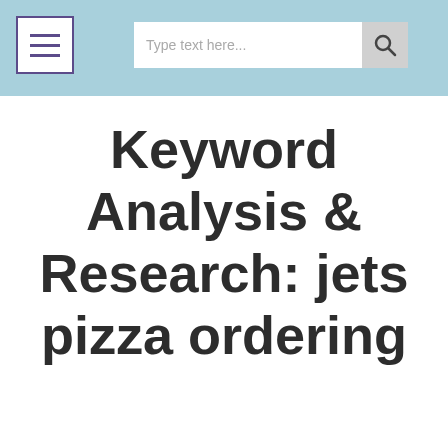Type text here...
Keyword Analysis & Research: jets pizza ordering